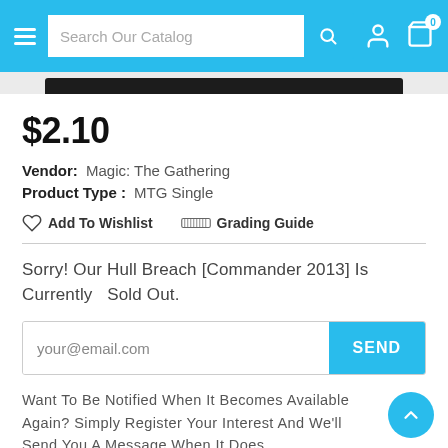Search Our Catalog
$2.10
Vendor:  Magic: The Gathering
Product Type :  MTG Single
♡ Add To Wishlist    ☰ Grading Guide
Sorry! Our Hull Breach [Commander 2013] Is Currently  Sold Out.
your@email.com
Want To Be Notified When It Becomes Available Again? Simply Register Your Interest And We'll Send You A Message When It Does.